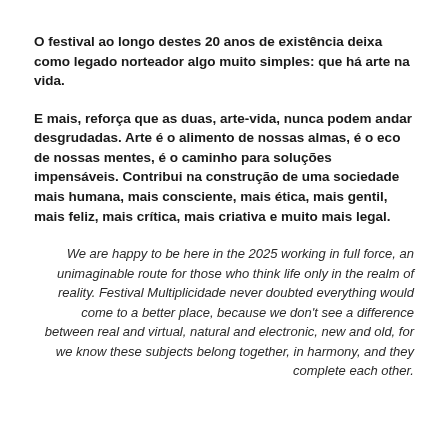O festival ao longo destes 20 anos de existência deixa como legado norteador algo muito simples: que há arte na vida.
E mais, reforça que as duas, arte-vida, nunca podem andar desgrudadas. Arte é o alimento de nossas almas, é o eco de nossas mentes, é o caminho para soluções impensáveis. Contribui na construção de uma sociedade mais humana, mais consciente, mais ética, mais gentil, mais feliz, mais crítica, mais criativa e muito mais legal.
We are happy to be here in the 2025 working in full force, an unimaginable route for those who think life only in the realm of reality. Festival Multiplicidade never doubted everything would come to a better place, because we don't see a difference between real and virtual, natural and electronic, new and old, for we know these subjects belong together, in harmony, and they complete each other.